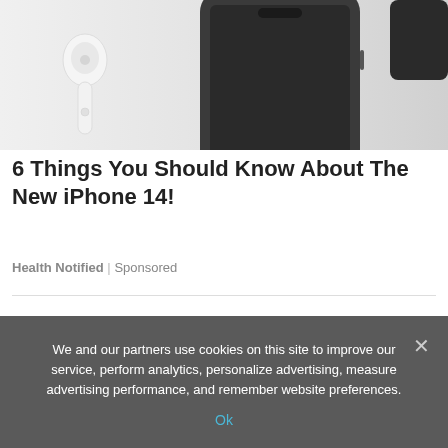[Figure (photo): Top portion of image showing white AirPods on the left and a dark iPhone 14 on a white/light gray background. Top right corner shows a partial dark object.]
6 Things You Should Know About The New iPhone 14!
Health Notified | Sponsored
We and our partners use cookies on this site to improve our service, perform analytics, personalize advertising, measure advertising performance, and remember website preferences.
Ok